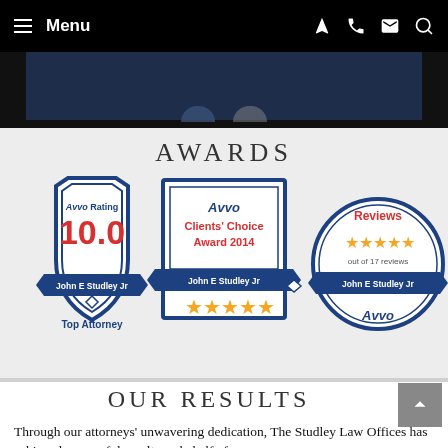Menu
[Figure (infographic): Three Avvo award badges: (1) Avvo Rating 10.0 shield badge for John E Studley Jr, Top Attorney; (2) Avvo Clients' Choice Award 2014 square badge for John E Studley Jr with 5 stars; (3) Avvo Reviews circle badge with 5 stars, out of 17 reviews, John E Studley Jr]
AWARDS
OUR RESULTS
Through our attorneys' unwavering dedication, The Studley Law Offices has achieved successful results on behalf of many